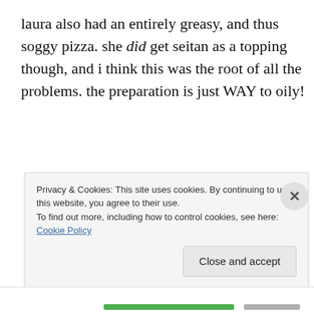laura also had an entirely greasy, and thus soggy pizza. she did get seitan as a topping though, and i think this was the root of all the problems. the preparation is just WAY to oily!
[Figure (photo): A dark photo showing a pizza slice inside a pizza box. The pizza has red tomato sauce, white cheese (melted), and dark toppings, sitting in a brown cardboard box with dim lighting.]
Privacy & Cookies: This site uses cookies. By continuing to use this website, you agree to their use.
To find out more, including how to control cookies, see here: Cookie Policy
Close and accept